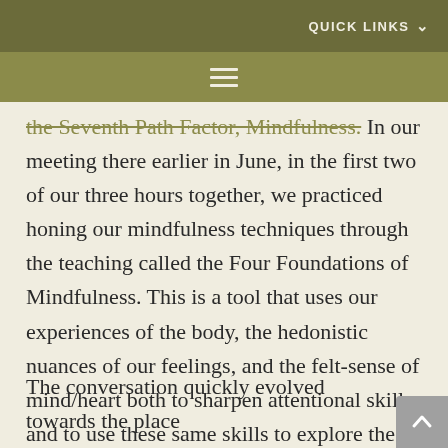QUICK LINKS
the Seventh Path Factor, Mindfulness. In our meeting there earlier in June, in the first two of our three hours together, we practiced honing our mindfulness techniques through the teaching called the Four Foundations of Mindfulness. This is a tool that uses our experiences of the body, the hedonistic nuances of our feelings, and the felt-sense of mind/heart both to sharpen attentional skills and to use these same skills to explore the nature of our lived reality. After the practice, we discussed what we knew of mindfulness and the role of this “awareness in the present moment” in our own lives.
The conversation quickly evolved towards the place